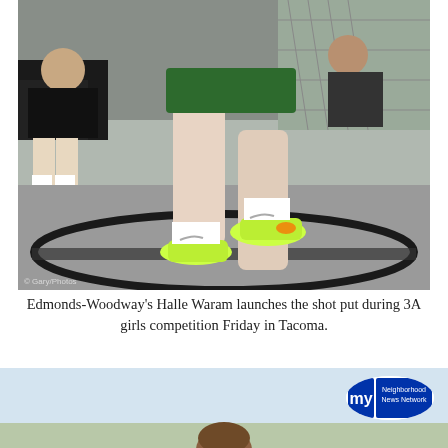[Figure (photo): A track and field athlete (Halle Waram from Edmonds-Woodway) in a green uniform launching the shot put. Close-up shot showing legs, green shorts, white socks and neon yellow Nike spikes in the throwing circle. Spectators and a chain-link fence visible in background.]
Edmonds-Woodway's Halle Waram launches the shot put during 3A girls competition Friday in Tacoma.
[Figure (photo): Partial view of another outdoor scene, partially obscured, with a person visible at the bottom. A Neighborhood News Network logo overlay in the bottom right corner.]